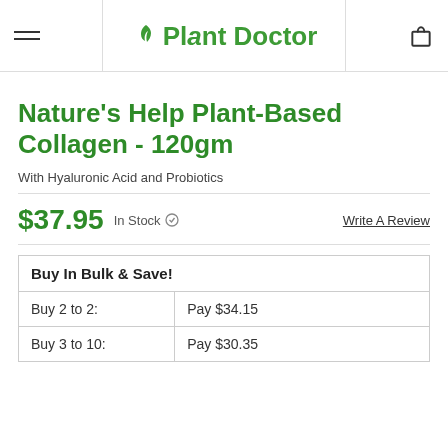Plant Doctor
Nature's Help Plant-Based Collagen - 120gm
With Hyaluronic Acid and Probiotics
$37.95  In Stock  Write A Review
| Buy In Bulk & Save! |
| --- |
| Buy 2 to 2: | Pay $34.15 |
| Buy 3 to 10: | Pay $30.35 |